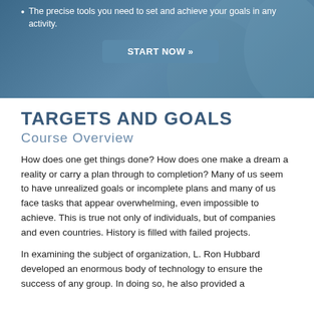[Figure (infographic): Blue banner with bullet point text and a START NOW button over a decorative silhouette background]
TARGETS AND GOALS
Course Overview
How does one get things done? How does one make a dream a reality or carry a plan through to completion? Many of us seem to have unrealized goals or incomplete plans and many of us face tasks that appear overwhelming, even impossible to achieve. This is true not only of individuals, but of companies and even countries. History is filled with failed projects.
In examining the subject of organization, L. Ron Hubbard developed an enormous body of technology to ensure the success of any group. In doing so, he also provided a